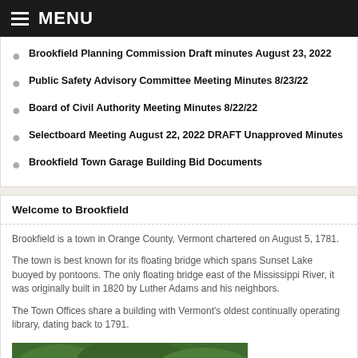MENU
Brookfield Planning Commission Draft minutes August 23, 2022
Public Safety Advisory Committee Meeting Minutes 8/23/22
Board of Civil Authority Meeting Minutes 8/22/22
Selectboard Meeting August 22, 2022 DRAFT Unapproved Minutes
Brookfield Town Garage Building Bid Documents
Welcome to Brookfield
Brookfield is a town in Orange County, Vermont chartered on August 5, 1781.
The town is best known for its floating bridge which spans Sunset Lake buoyed by pontoons. The only floating bridge east of the Mississippi River, it was originally built in 1820 by Luther Adams and his neighbors.
The Town Offices share a building with Vermont’s oldest continually operating library, dating back to 1791.
[Figure (photo): Outdoor photo showing trees and a white roof/building structure in Brookfield, Vermont]